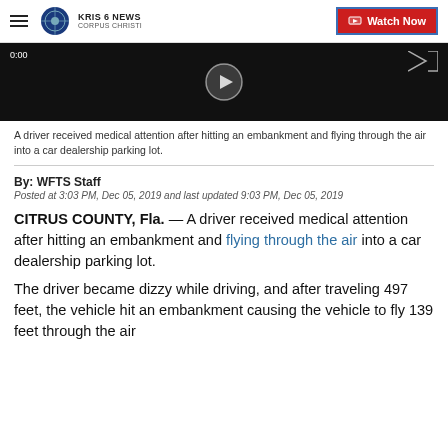KRIS 6 NEWS CORPUS CHRISTI | Watch Now
[Figure (screenshot): Dark video thumbnail with play button and timestamp 0:00]
A driver received medical attention after hitting an embankment and flying through the air into a car dealership parking lot.
By: WFTS Staff
Posted at 3:03 PM, Dec 05, 2019 and last updated 9:03 PM, Dec 05, 2019
CITRUS COUNTY, Fla. — A driver received medical attention after hitting an embankment and flying through the air into a car dealership parking lot.
The driver became dizzy while driving, and after traveling 497 feet, the vehicle hit an embankment causing the vehicle to fly 139 feet through the air landing in a car dealership parking lot.